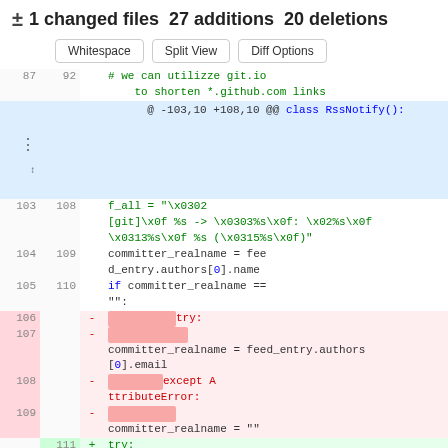± 1 changed files  27 additions  20 deletions
Whitespace  Split View  Diff Options
[Figure (screenshot): Git diff view showing code changes in a Python file. Lines 103-111 shown with context, deletions (red), and additions (green). Hunk header: @ -103,10 +108,10 @@ class RssNotify():]